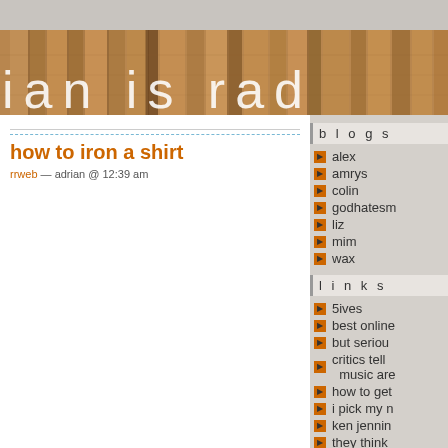[Figure (photo): Wood plank fence texture banner header with text 'ian is rad' in large white letters]
how to iron a shirt
rrweb — adrian @ 12:39 am
blogs
alex
amrys
colin
godhatesm
liz
mim
wax
links
5ives
best online
but seriou
critics tell music are
how to get
i pick my n
ken jennin
they think
music